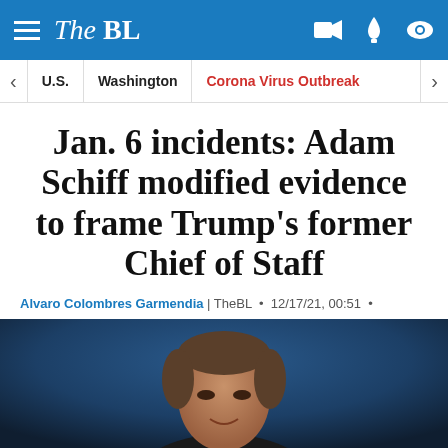The BL
U.S. | Washington | Corona Virus Outbreak
Jan. 6 incidents: Adam Schiff modified evidence to frame Trump’s former Chief of Staff
Alvaro Colombres Garmendia | TheBL • 12/17/21, 00:51 •
[Figure (photo): Photo of a man (Adam Schiff) in front of a dark blue background]